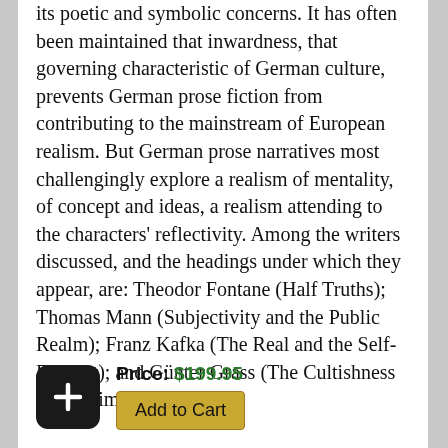its poetic and symbolic concerns. It has often been maintained that inwardness, that governing characteristic of German culture, prevents German prose fiction from contributing to the mainstream of European realism. But German prose narratives most challengingly explore a realism of mentality, of concept and ideas, a realism attending to the characters' reflectivity. Among the writers discussed, and the headings under which they appear, are: Theodor Fontane (Half Truths); Thomas Mann (Subjectivity and the Public Realm); Franz Kafka (The Real and the Self-Evident); and Günter Grass (The Cultishness of the Times).
Price: $199.95
Add to Cart